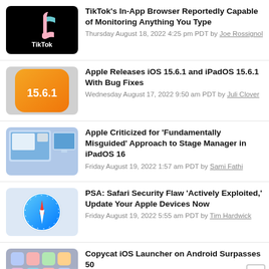TikTok's In-App Browser Reportedly Capable of Monitoring Anything You Type — Thursday August 18, 2022 4:25 pm PDT by Joe Rossignol
Apple Releases iOS 15.6.1 and iPadOS 15.6.1 With Bug Fixes — Wednesday August 17, 2022 9:50 am PDT by Juli Clover
Apple Criticized for 'Fundamentally Misguided' Approach to Stage Manager in iPadOS 16 — Friday August 19, 2022 1:57 am PDT by Sami Fathi
PSA: Safari Security Flaw 'Actively Exploited,' Update Your Apple Devices Now — Friday August 19, 2022 5:55 am PDT by Tim Hardwick
Copycat iOS Launcher on Android Surpasses 50 Million Downloads — Friday August 19, 2022 3:56 am PDT by Sami Fathi